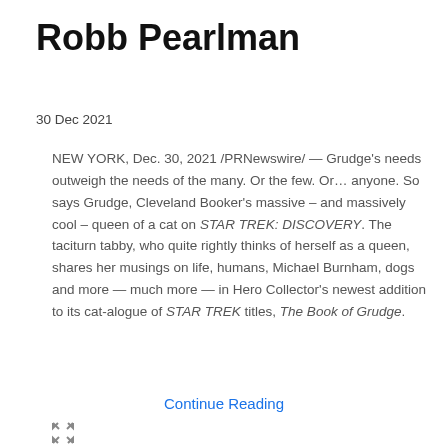Robb Pearlman
30 Dec 2021
NEW YORK, Dec. 30, 2021 /PRNewswire/ — Grudge's needs outweigh the needs of the many. Or the few. Or… anyone. So says Grudge, Cleveland Booker's massive – and massively cool – queen of a cat on STAR TREK: DISCOVERY. The taciturn tabby, who quite rightly thinks of herself as a queen, shares her musings on life, humans, Michael Burnham, dogs and more — much more — in Hero Collector's newest addition to its cat-alogue of STAR TREK titles, The Book of Grudge.
Continue Reading
[Figure (other): Expand/fullscreen icon (four arrows pointing outward)]